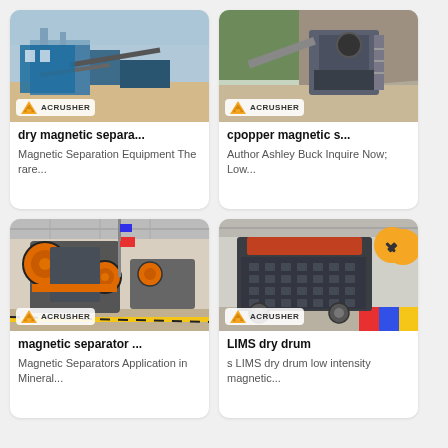[Figure (photo): Mining/sand processing plant with blue industrial structures and conveyors, ACRUSHER logo badge bottom-left]
dry magnetic separa...
Magnetic Separation Equipment The rare...
[Figure (photo): Outdoor crushing/screening plant with large machinery and rock face background, ACRUSHER logo badge bottom-left]
cpopper magnetic s...
Author Ashley Buck Inquire Now; Low...
[Figure (photo): Industrial jaw crusher machine in factory with orange and grey coloring, ACRUSHER logo badge bottom-left]
magnetic separator ...
Magnetic Separators Application in Mineral...
[Figure (photo): Dark grey rectangular industrial impact crusher machine in factory with orange accents and circular yellow badge top-right, ACRUSHER logo badge bottom-left]
LIMS dry drum
s LIMS dry drum low intensity magnetic...